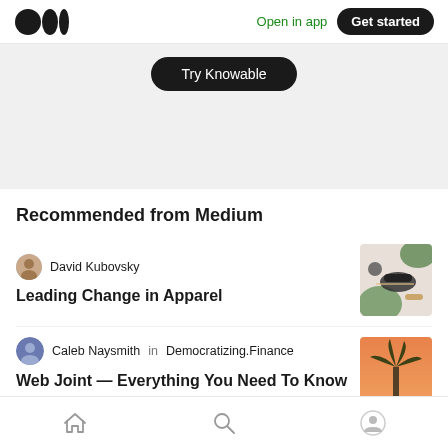Medium logo | Open in app | Get started
Try Knowable
Recommended from Medium
David Kubovsky
Leading Change in Apparel
[Figure (photo): Thumbnail image of apparel items including shoes and accessories on a green leaf background]
Caleb Naysmith in Democratizing.Finance
Web Joint — Everything You Need To Know
[Figure (photo): Thumbnail image of a palm tree against an orange/sunset background]
Home | Search | Profile